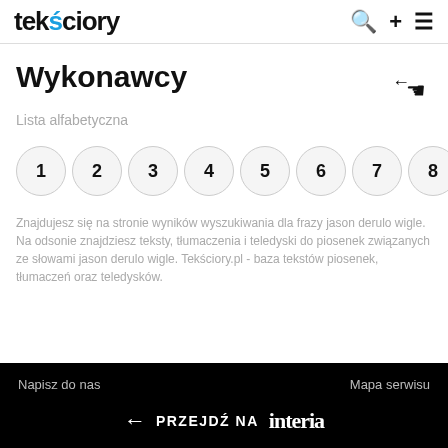tekściory
Wykonawcy
Lista alfabetyczna
1
2
3
4
5
6
7
8
Znajdujesz się na stronie wyników wyszukiwania dla frazy jason derulo wigle. Na odsonie znajdziesz teksty, tłumaczenia i teledyski do piosenek związanych ze słowami jason derulo wigle. Tekściory.pl - baza tekstów piosenek, tłumaczeń oraz teledysków.
Napisz do nas    Mapa serwisu    ← PRZEJDŹ NA interia